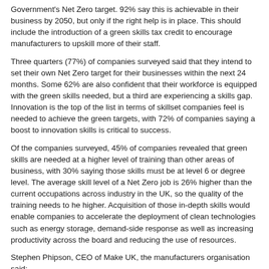Government's Net Zero target. 92% say this is achievable in their business by 2050, but only if the right help is in place. This should include the introduction of a green skills tax credit to encourage manufacturers to upskill more of their staff.
Three quarters (77%) of companies surveyed said that they intend to set their own Net Zero target for their businesses within the next 24 months. Some 62% are also confident that their workforce is equipped with the green skills needed, but a third are experiencing a skills gap. Innovation is the top of the list in terms of skillset companies feel is needed to achieve the green targets, with 72% of companies saying a boost to innovation skills is critical to success.
Of the companies surveyed, 45% of companies revealed that green skills are needed at a higher level of training than other areas of business, with 30% saying those skills must be at level 6 or degree level. The average skill level of a Net Zero job is 26% higher than the current occupations across industry in the UK, so the quality of the training needs to be higher. Acquisition of those in-depth skills would enable companies to accelerate the deployment of clean technologies such as energy storage, demand-side response as well as increasing productivity across the board and reducing the use of resources.
Stephen Phipson, CEO of Make UK, the manufacturers organisation said:
“Britain’s manufacturers have long shown that they are at the forefront of innovation globally and they have already gone a long way to improve their processes and production in the quest to reach Net Zero. But in order that they continue at speed, business needs Government to play its part in driving the process forward.
“To that end, Government needs to prioritise educational resources to make sure there is an increased provision of training at the higher skill levels of degree standard or above level 5. This will help to make sure industry has the skills it needs to take advantage of the opportunities in the digital and green economy. They should look to implement a green skills tax credit to encourage